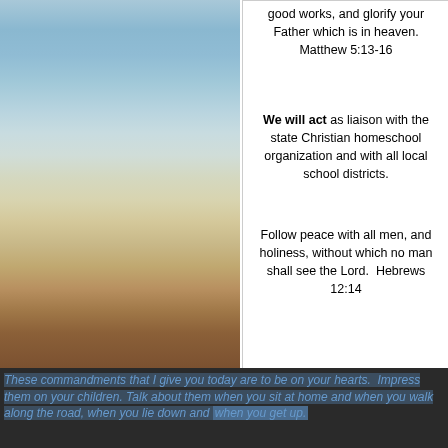[Figure (illustration): Landscape background with horizontal bands of color from sky blue at top through tan and brown earth tones at the bottom, occupying the left half of the page.]
good works, and glorify your Father which is in heaven. Matthew 5:13-16
We will act as liaison with the state Christian homeschool organization and with all local school districts.
Follow peace with all men, and holiness, without which no man shall see the Lord.  Hebrews 12:14
These commandments that I give you today are to be on your hearts.  Impress them on your children. Talk about them when you sit at home and when you walk along the road, when you lie down and when you get up.